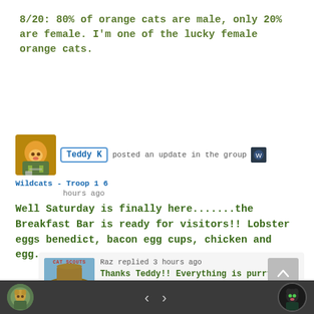8/20: 80% of orange cats are male, only 20% are female. I'm one of the lucky female orange cats.
Teddy K posted an update in the group Wildcats - Troop 1 6 hours ago
Well Saturday is finally here.......the Breakfast Bar is ready for visitors!! Lobster eggs benedict, bacon egg cups, chicken and egg...
Raz replied 3 hours ago
Thanks Teddy!! Everything is purrfect!